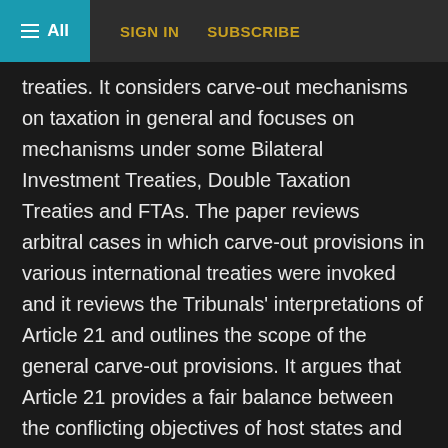≡ All   SIGN IN   SUBSCRIBE
treaties. It considers carve-out mechanisms on taxation in general and focuses on mechanisms under some Bilateral Investment Treaties, Double Taxation Treaties and FTAs. The paper reviews arbitral cases in which carve-out provisions in various international treaties were invoked and it reviews the Tribunals' interpretations of Article 21 and outlines the scope of the general carve-out provisions. It argues that Article 21 provides a fair balance between the conflicting objectives of host states and foreign investors. The author emphasises that the rather incautious drafting gives rise to concrete problems in its